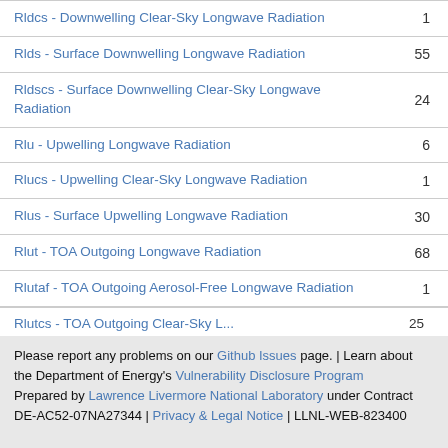| Name | Count |
| --- | --- |
| Rldcs - Downwelling Clear-Sky Longwave Radiation | 1 |
| Rlds - Surface Downwelling Longwave Radiation | 55 |
| Rldscs - Surface Downwelling Clear-Sky Longwave Radiation | 24 |
| Rlu - Upwelling Longwave Radiation | 6 |
| Rlucs - Upwelling Clear-Sky Longwave Radiation | 1 |
| Rlus - Surface Upwelling Longwave Radiation | 30 |
| Rlut - TOA Outgoing Longwave Radiation | 68 |
| Rlutaf - TOA Outgoing Aerosol-Free Longwave Radiation | 1 |
| Rlutcs - TOA Outgoing Clear-Sky... | 25 |
Please report any problems on our Github Issues page. | Learn about the Department of Energy's Vulnerability Disclosure Program
Prepared by Lawrence Livermore National Laboratory under Contract DE-AC52-07NA27344 | Privacy & Legal Notice | LLNL-WEB-823400